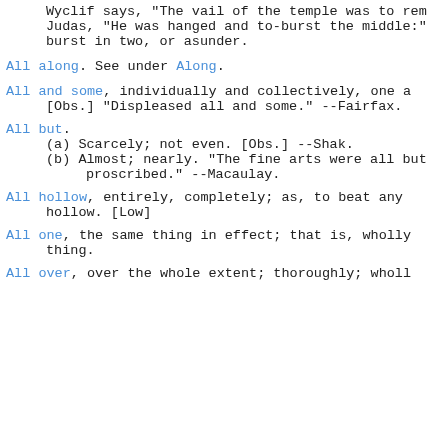Wyclif says, "The vail of the temple was to ren Judas, "He was hanged and to-burst the middle:" burst in two, or asunder.
All along. See under Along.
All and some, individually and collectively, one a [Obs.] "Displeased all and some." --Fairfax.
All but.
(a) Scarcely; not even. [Obs.] --Shak.
(b) Almost; nearly. "The fine arts were all but proscribed." --Macaulay.
All hollow, entirely, completely; as, to beat any hollow. [Low]
All one, the same thing in effect; that is, wholly thing.
All over, over the whole extent; thoroughly; wholl